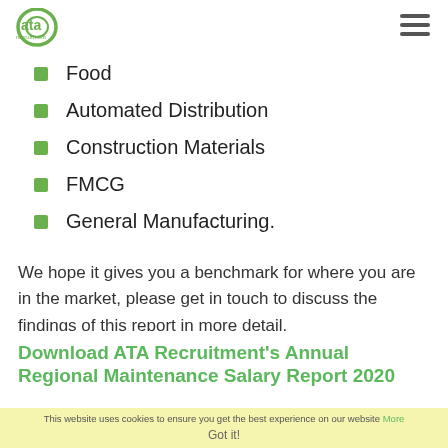ATA Recruitment (logo and hamburger menu)
sector of the market for both SMEs and large blue chips…employers such as:
Food
Automated Distribution
Construction Materials
FMCG
General Manufacturing.
We hope it gives you a benchmark for where you are in the market, please get in touch to discuss the findings of this report in more detail.
Download ATA Recruitment's Annual Regional Maintenance Salary Report 2020
This website uses cookies to ensure you get the best experience on our website More
Got it!